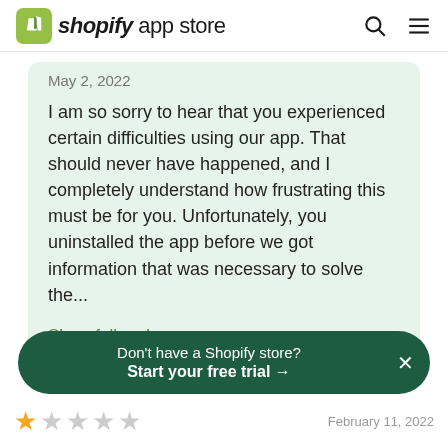shopify app store
May 2, 2022
I am so sorry to hear that you experienced certain difficulties using our app. That should never have happened, and I completely understand how frustrating this must be for you. Unfortunately, you uninstalled the app before we got information that was necessary to solve the...
Show full reply
Don't have a Shopify store? Start your free trial →
[Figure (other): Star rating row showing 1 gold star and 4 grey stars with a partial date 'February 11, 2022' on the right]